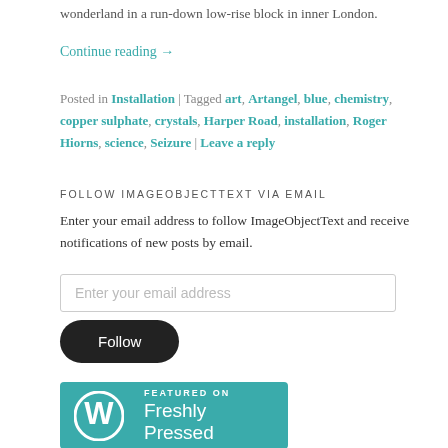wonderland in a run-down low-rise block in inner London.
Continue reading →
Posted in Installation | Tagged art, Artangel, blue, chemistry, copper sulphate, crystals, Harper Road, installation, Roger Hiorns, science, Seizure | Leave a reply
FOLLOW IMAGEOBJECTTEXT VIA EMAIL
Enter your email address to follow ImageObjectText and receive notifications of new posts by email.
[Figure (other): Email input field placeholder: Enter your email address]
[Figure (other): Follow button - black rounded pill button]
[Figure (logo): WordPress Freshly Pressed badge - teal background with WP logo and text FEATURED ON Freshly Pressed]